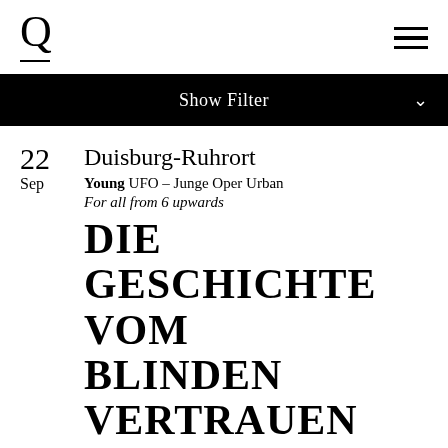Q
Show Filter
22
Sep
Duisburg-Ruhrort
Young UFO – Junge Oper Urban
For all from 6 upwards
DIE GESCHICHTE VOM BLINDEN VERTRAUEN
Hege Haagenrud / Gregor Hübner
Tickets
€ 10